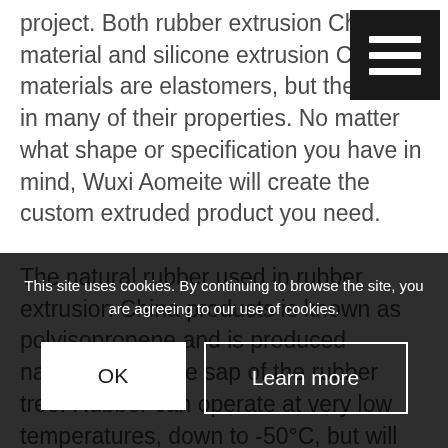project. Both rubber extrusion China material and silicone extrusion China materials are elastomers, but they differ in many of their properties. No matter what shape or specification you have in mind, Wuxi Aomeite will create the custom extruded product you need.

The natural rubber used in rubber extrusion China products is known as polyisopropene and is produced naturally from the sap of the rubber tree. Rubber can operate at very low temperatures, down to -50°C, but will begin to deteriorate at warmer temperatures (80°C) and will melt at 120°C. Rubber also has higher tensile strength, tear strength, and abrasion resistance compared to silicone. For ideal compatibility, rubber is a good choice for applications that involve hot oil, weak acids, alcohols, ketones, and
This site uses cookies. By continuing to browse the site, you are agreeing to our use of cookies.